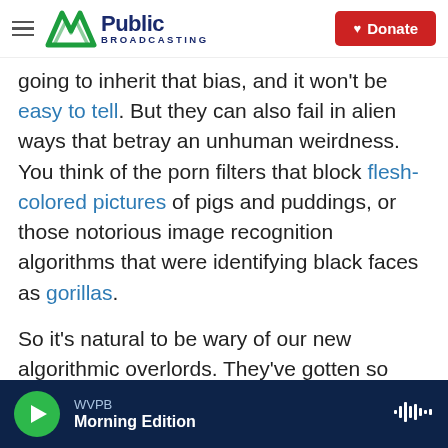WV Public Broadcasting | Donate
going to inherit that bias, and it won't be easy to tell. But they can also fail in alien ways that betray an unhuman weirdness. You think of the porn filters that block flesh-colored pictures of pigs and puddings, or those notorious image recognition algorithms that were identifying black faces as gorillas.
So it's natural to be wary of our new algorithmic overlords. They've gotten so good at faking intelligent behavior that it's easy to forget that there's really nobody home.
Copyright 2020 Fresh Air. To see more, visit Fresh
WVPB
Morning Edition